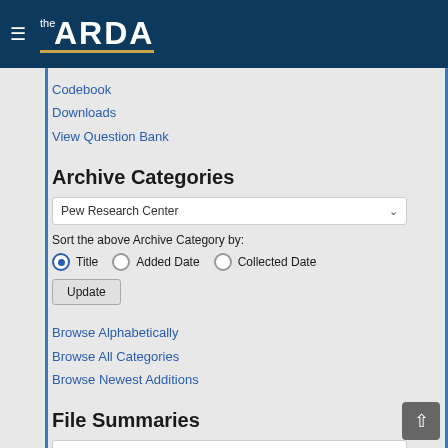the ARDA
Codebook
Downloads
View Question Bank
Archive Categories
Pew Research Center
Sort the above Archive Category by:
Title  Added Date  Collected Date
Update
Browse Alphabetically
Browse All Categories
Browse Newest Additions
File Summaries
U.S. Religious Landscape Survey - Alaska and Hawaii M...